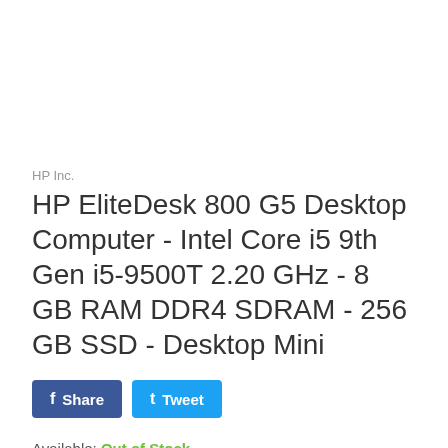HP Inc.
HP EliteDesk 800 G5 Desktop Computer - Intel Core i5 9th Gen i5-9500T 2.20 GHz - 8 GB RAM DDR4 SDRAM - 256 GB SSD - Desktop Mini
f Share   t Tweet
Available: Out of Stock
Product SKU:   ETS6462737